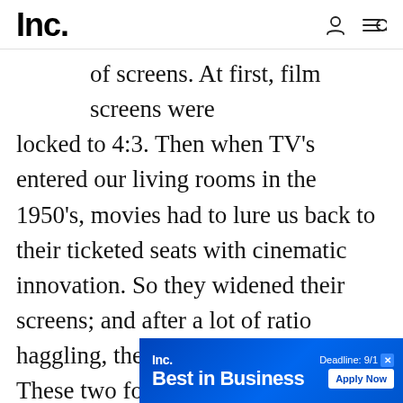Inc.
of screens. At first, film screens were locked to 4:3. Then when TV's entered our living rooms in the 1950's, movies had to lure us back to their ticketed seats with cinematic innovation. So they widened their screens; and after a lot of ratio haggling, the aspect ratio 16:9 settled. These two formats have coasted us through the decades quite happily, until recently
[Figure (screenshot): Inc. Best in Business advertisement banner with 'Deadline: 9/1' and 'Apply Now' button]